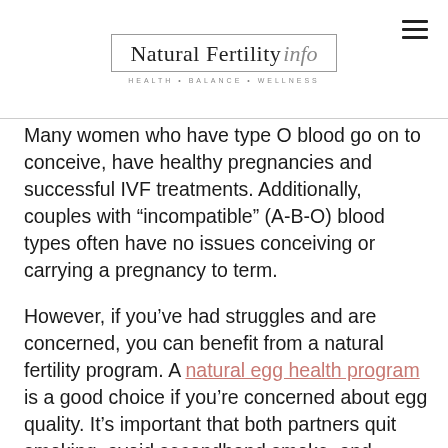Natural Fertility info — HEALTH • BALANCE • WELLNESS
Many women who have type O blood go on to conceive, have healthy pregnancies and successful IVF treatments. Additionally, couples with “incompatible” (A-B-O) blood types often have no issues conceiving or carrying a pregnancy to term.
However, if you’ve had struggles and are concerned, you can benefit from a natural fertility program. A natural egg health program is a good choice if you’re concerned about egg quality. It’s important that both partners quit smoking, avoid secondhand smoke, and